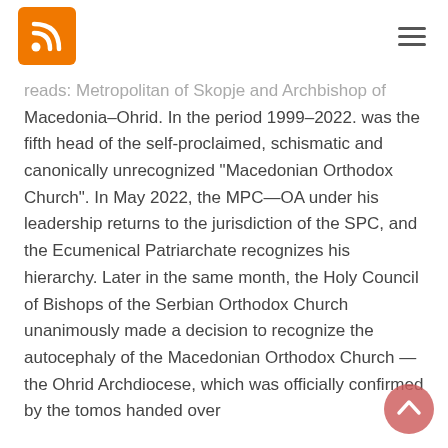RSS icon and hamburger menu
reads: Metropolitan of Skopje and Archbishop of Macedonia-Ohrid. In the period 1999-2022. was the fifth head of the self-proclaimed, schismatic and canonically unrecognized "Macedonian Orthodox Church". In May 2022, the MPC—OA under his leadership returns to the jurisdiction of the SPC, and the Ecumenical Patriarchate recognizes his hierarchy. Later in the same month, the Holy Council of Bishops of the Serbian Orthodox Church unanimously made a decision to recognize the autocephaly of the Macedonian Orthodox Church — the Ohrid Archdiocese, which was officially confirmed by the tomos handed over